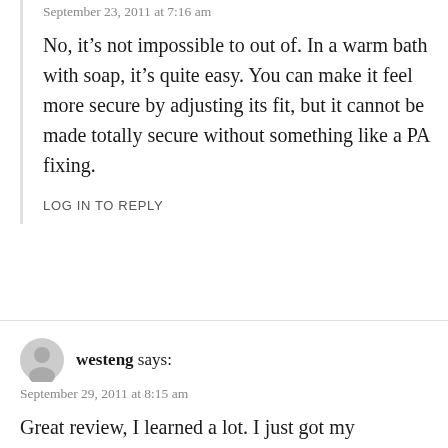September 23, 2011 at 7:16 am
No, it’s not impossible to out of. In a warm bath with soap, it’s quite easy. You can make it feel more secure by adjusting its fit, but it cannot be made totally secure without something like a PA fixing.
LOG IN TO REPLY
westeng says:
September 29, 2011 at 8:15 am
Great review, I learned a lot. I just got my CB6000. Put it on for the first time last night. I drank lots of water to get used to urinating in it. Sitting was the only way I could make it work. I, too, have the